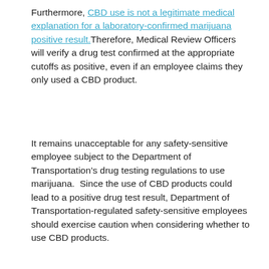Furthermore, CBD use is not a legitimate medical explanation for a laboratory-confirmed marijuana positive result. Therefore, Medical Review Officers will verify a drug test confirmed at the appropriate cutoffs as positive, even if an employee claims they only used a CBD product.
It remains unacceptable for any safety-sensitive employee subject to the Department of Transportation’s drug testing regulations to use marijuana. Since the use of CBD products could lead to a positive drug test result, Department of Transportation-regulated safety-sensitive employees should exercise caution when considering whether to use CBD products.